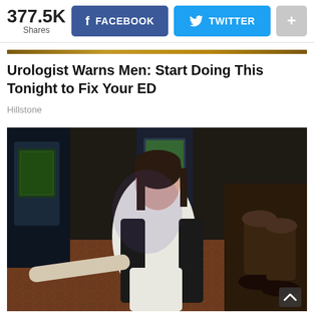377.5K Shares | FACEBOOK | TWITTER | +
Urologist Warns Men: Start Doing This Tonight to Fix Your ED
Hillstone
[Figure (photo): Photo of a woman with dark hair wearing a white shirt and black blazer, sitting in what appears to be a casino with slot machines visible in the background.]